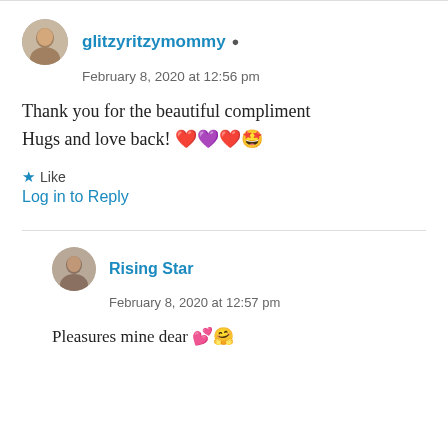glitzyritzymommy [author icon]
February 8, 2020 at 12:56 pm
Thank you for the beautiful compliment Hugs and love back! ❤️💜❤️🤩
★ Like
Log in to Reply
Rising Star
February 8, 2020 at 12:57 pm
Pleasures mine dear 💕🤗